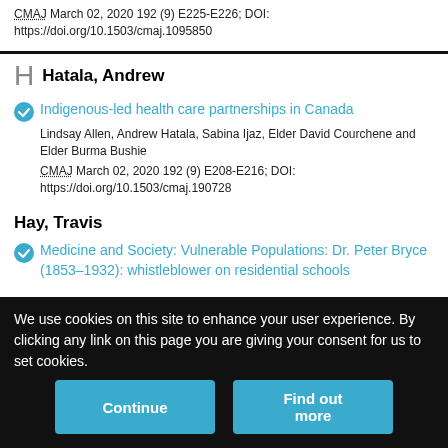CMAJ March 02, 2020 192 (9) E225-E226; DOI: https://doi.org/10.1503/cmaj.1095850
Hatala, Andrew
Indigenous-led health care partnerships in Canada
Lindsay Allen, Andrew Hatala, Sabina Ijaz, Elder David Courchene and Elder Burma Bushie
CMAJ March 02, 2020 192 (9) E208-E216; DOI: https://doi.org/10.1503/cmaj.190728
Hay, Travis
Medicine and Society: Vulnerable Populations: Dr. Peter Bryce (1853–1932): whistleblower on residential schools
We use cookies on this site to enhance your user experience. By clicking any link on this page you are giving your consent for us to set cookies.